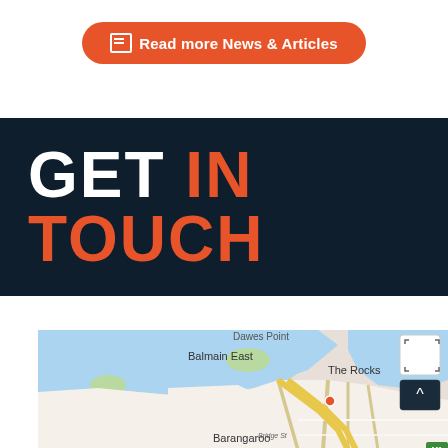🗎 Read more News & Articles
GET IN TOUCH
[Figure (map): Google Maps screenshot showing Sydney area including Balmain East, Dawes Point, The Rocks, Barangaroo, and Bridge St. Features water (harbour), streets, and the M1 motorway indicator.]